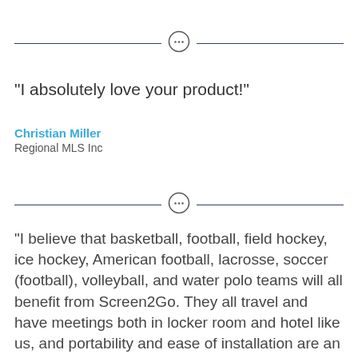[Figure (other): Horizontal divider with chat bubble icon in center]
"I absolutely love your product!"
Christian Miller
Regional MLS Inc
[Figure (other): Horizontal divider with chat bubble icon in center]
"I believe that basketball, football, field hockey, ice hockey, American football, lacrosse, soccer (football), volleyball, and water polo teams will all benefit from Screen2Go. They all travel and have meetings both in locker room and hotel like us, and portability and ease of installation are an unparalleled advantage of Screen2Go. As much as I'd like to keep Screen2Go as one of